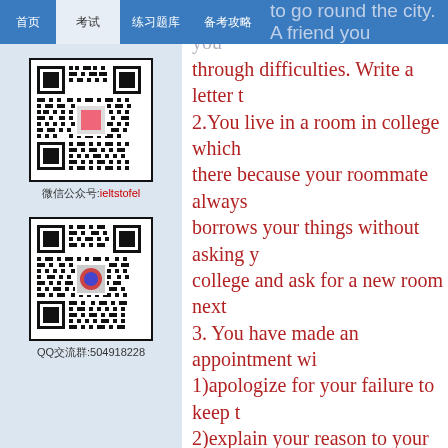Navigation bar with tabs
[Figure (other): QR code with label ieltstofel]
[Figure (other): QR code with label 504918228]
to go round the city. A friend you ... through difficulties. Write a letter t... 2.You live in a room in college which... there because your roommate always... borrows your things without asking y... college and ask for a new room next... 3. You have made an appointment wi... 1)apologize for your failure to keep t... 2)explain your reason to your teacher... 3)express your wish to make another... 4.write a letter to request information... 5.A friend is already attending Oxfor... Write and ask him/or her about what... he/she has had. 6.You are writing your first letter to a... country during the summer vacation... 7.You should also ask about 30...